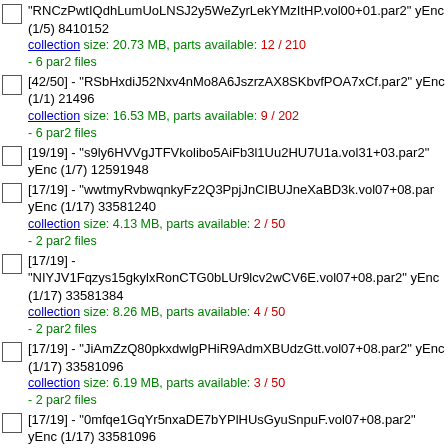"RNCzPwtIQdhLumUoLNSJ2y5WeZyrLekYMzItHP.vol00+01.par2" yEnc (1/5) 8410152
collection size: 20.73 MB, parts available: 12 / 210
- 6 par2 files
[42/50] - "RSbHxdiJ52Nxv4nMo8A6JszrzAX8SKbvfPOA7xCf.par2" yEnc (1/1) 21496
collection size: 16.53 MB, parts available: 9 / 202
- 6 par2 files
[19/19] - "s9ly6HVVgJTFVkolibo5AiFb3l1Uu2HU7U1a.vol31+03.par2" yEnc (1/7) 12591948
[17/19] - "wwtmyRvbwqnkyFz2Q3PpjJnCIBUJneXaBD3k.vol07+08.par2" yEnc (1/17) 33581240
collection size: 4.13 MB, parts available: 2 / 50
- 2 par2 files
[17/19] - "NIYJV1Fqzys15gkylxRonCTG0bLUr9lcv2wCV6E.vol07+08.par2" yEnc (1/17) 33581384
collection size: 8.26 MB, parts available: 4 / 50
- 2 par2 files
[17/19] - "JiAmZzQ80pkxdwlgPHiR9AdmXBUdzGtt.vol07+08.par2" yEnc (1/17) 33581096
collection size: 6.19 MB, parts available: 3 / 50
- 2 par2 files
[17/19] - "0mfqe1GqYr5nxaDE7bYPlHUsGyuSnpuF.vol07+08.par2" yEnc (1/17) 33581096
[16/18] - "z6eWBB1thh54x8QluhJoXla4NPcDKc7u8Y2.vol07+08.par2" yEnc (1/17) 33580400
collection size: 12.38 MB, parts available: 6 / 50
- 2 par2 files
[16/18] - "fZxZxlG5BpKopJsS1m3BLsGIhkf0NTHLiwQtv.vol07+08.par2" yEnc